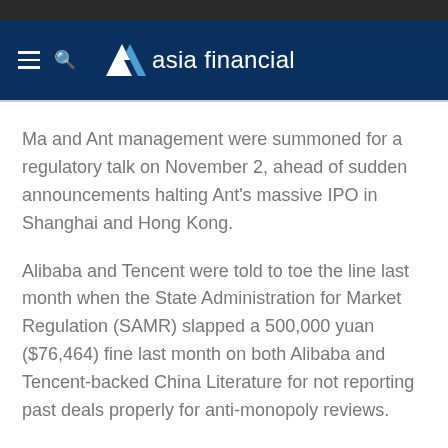asia financial
Ma and Ant management were summoned for a regulatory talk on November 2, ahead of sudden announcements halting Ant's massive IPO in Shanghai and Hong Kong.
Alibaba and Tencent were told to toe the line last month when the State Administration for Market Regulation (SAMR) slapped a 500,000 yuan ($76,464) fine last month on both Alibaba and Tencent-backed China Literature for not reporting past deals properly for anti-monopoly reviews.